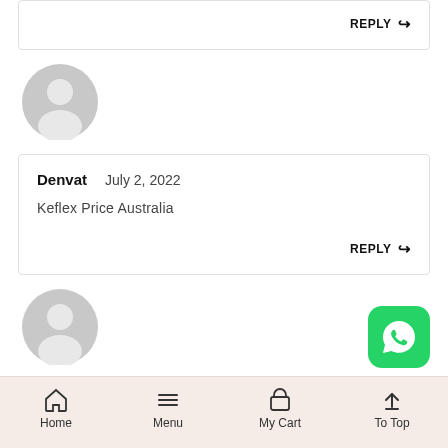[Figure (other): Partial top comment card showing only REPLY button with arrow icon]
[Figure (other): Gray default user avatar circle icon]
Denvat   July 2, 2022
Keflex Price Australia
REPLY
[Figure (other): Gray default user avatar circle icon (second)]
[Figure (other): WhatsApp green rounded square button with white WhatsApp logo]
Home   Menu   My Cart   To Top